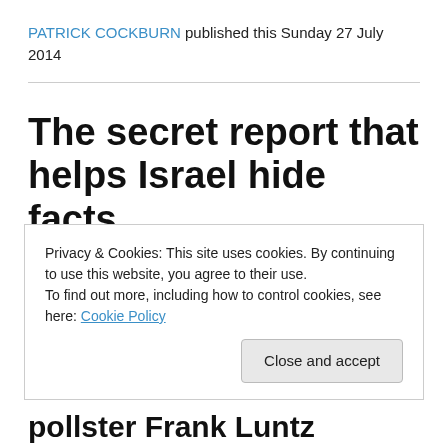PATRICK COCKBURN published this Sunday 27 July 2014
The secret report that helps Israel hide facts
Privacy & Cookies: This site uses cookies. By continuing to use this website, you agree to their use.
To find out more, including how to control cookies, see here: Cookie Policy
Close and accept
pollster Frank Luntz